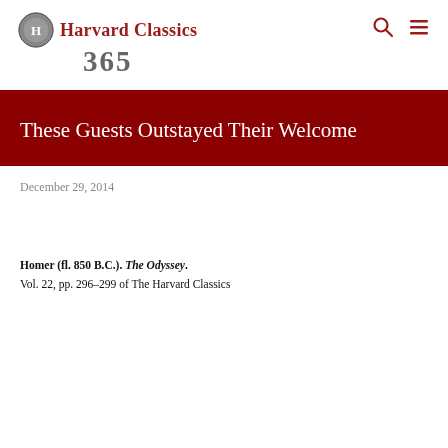[Figure (logo): Harvard Classics 365 logo with text 'Harvard Classics' in red serif font and '365' in large bold numerals with a decorative emblem]
These Guests Outstayed Their Welcome
December 29, 2014
Homer (fl. 850 B.C.). The Odyssey.
Vol. 22, pp. 296-299 of The Harvard Classics